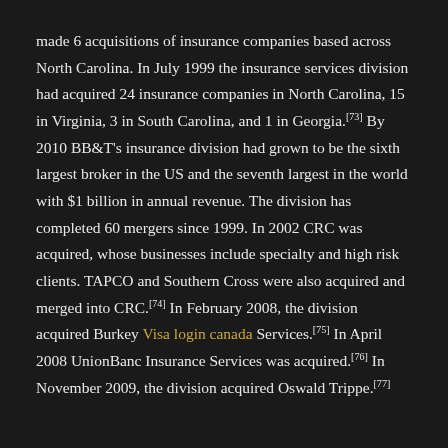made 6 acquisitions of insurance companies based across North Carolina. In July 1999 the insurance services division had acquired 24 insurance companies in North Carolina, 15 in Virginia, 3 in South Carolina, and 1 in Georgia.[73] By 2010 BB&T's insurance division had grown to be the sixth largest broker in the US and the seventh largest in the world with $1 billion in annual revenue. The division has completed 60 mergers since 1999. In 2002 CRC was acquired, whose businesses include specialty and high risk clients. TAPCO and Southern Cross were also acquired and merged into CRC.[74] In February 2008, the division acquired Burkey Visa login canada Services.[75] In April 2008 UnionBanc Insurance Services was acquired.[76] In November 2009, the division acquired Oswald Trippe.[77]